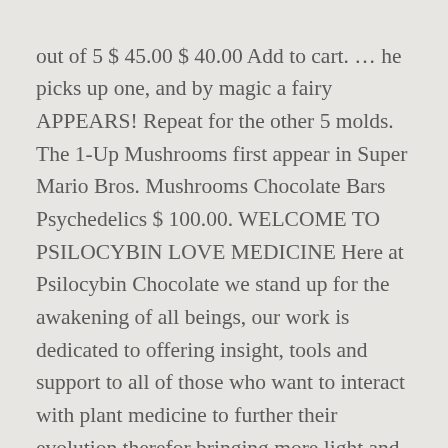out of 5 $ 45.00 $ 40.00 Add to cart. … he picks up one, and by magic a fairy APPEARS! Repeat for the other 5 molds. The 1-Up Mushrooms first appear in Super Mario Bros. Mushrooms Chocolate Bars Psychedelics $ 100.00. WELCOME TO PSILOCYBIN LOVE MEDICINE Here at Psilocybin Chocolate we stand up for the awakening of all beings, our work is dedicated to offering insight, tools and support to all of those who want to interact with plant medicine to further their evolution therefor bringing more light and love back to … Mix the chocolate blend so the mushroom is uniformly disseminated all through it .Chocolate Mushrooms; Cautiously empty it out into your